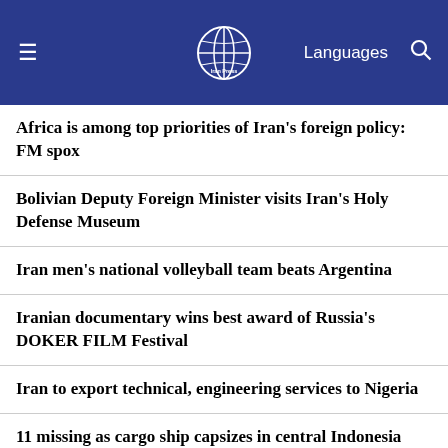Iran Press — Languages
Africa is among top priorities of Iran's foreign policy: FM spox
Bolivian Deputy Foreign Minister visits Iran's Holy Defense Museum
Iran men's national volleyball team beats Argentina
Iranian documentary wins best award of Russia's DOKER FILM Festival
Iran to export technical, engineering services to Nigeria
11 missing as cargo ship capsizes in central Indonesia
Iran starts LPG export in Bandar Abbas
World Newspapers: 'pain' lies ahead for economy, US central bank warns
Advancement of women's leadership capabilities on the agenda: